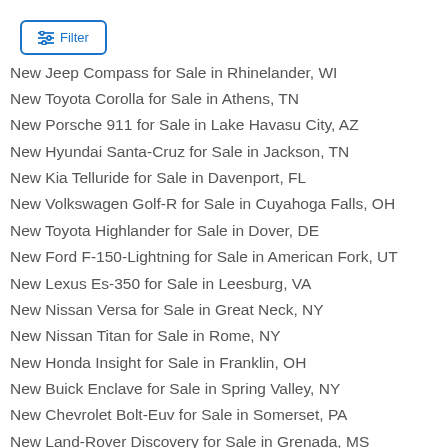[Figure (other): Filter button with sliders icon]
New Jeep Compass for Sale in Rhinelander, WI
New Toyota Corolla for Sale in Athens, TN
New Porsche 911 for Sale in Lake Havasu City, AZ
New Hyundai Santa-Cruz for Sale in Jackson, TN
New Kia Telluride for Sale in Davenport, FL
New Volkswagen Golf-R for Sale in Cuyahoga Falls, OH
New Toyota Highlander for Sale in Dover, DE
New Ford F-150-Lightning for Sale in American Fork, UT
New Lexus Es-350 for Sale in Leesburg, VA
New Nissan Versa for Sale in Great Neck, NY
New Nissan Titan for Sale in Rome, NY
New Honda Insight for Sale in Franklin, OH
New Buick Enclave for Sale in Spring Valley, NY
New Chevrolet Bolt-Euv for Sale in Somerset, PA
New Land-Rover Discovery for Sale in Grenada, MS
New Lincoln Corsair for Sale in Magnolia, TX
New GMC Terrain for Sale in The Villages, FL